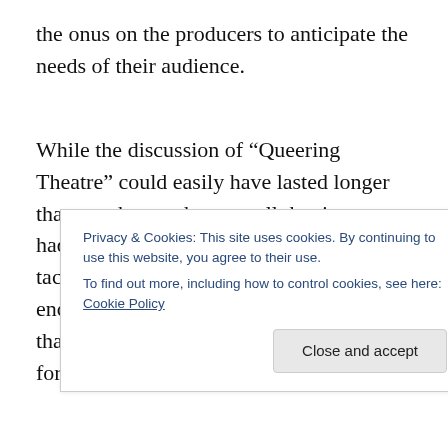the onus on the producers to anticipate the needs of their audience.
While the discussion of “Queering Theatre” could easily have lasted longer than two hours, that was all the time we had! There is also much more that was tackled in the two hours that we can encapsulate in a single blog entry. A big thank-you to Rainbow Resource Centre for hosting us, to
Privacy & Cookies: This site uses cookies. By continuing to use this website, you agree to their use.
To find out more, including how to control cookies, see here: Cookie Policy